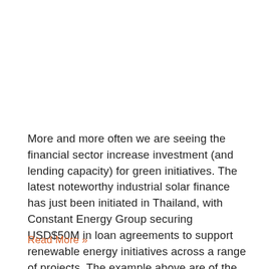More and more often we are seeing the financial sector increase investment (and lending capacity) for green initiatives. The latest noteworthy industrial solar finance has just been initiated in Thailand, with Constant Energy Group securing USD$50M in loan agreements to support renewable energy initiatives across a range of projects. The example above are of the ...
Read More »